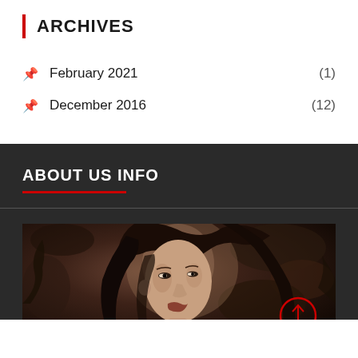ARCHIVES
February 2021 (1)
December 2016 (12)
ABOUT US INFO
[Figure (photo): Sepia-toned portrait photo of a young woman with long dark hair against a natural background, with a red circle/arrow overlay in the lower right]